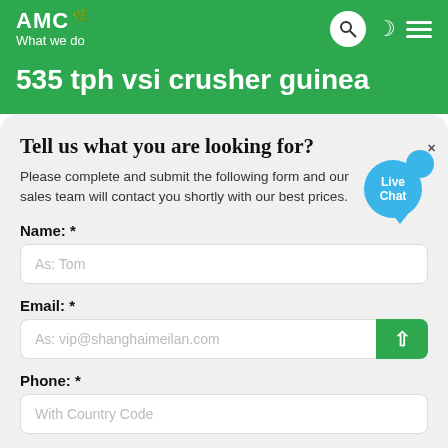AMC — What we do
535 tph vsi crusher guinea
Tell us what you are looking for?
Please complete and submit the following form and our sales team will contact you shortly with our best prices.
Name: *
As: Tom
Email: *
As: vip@shanghaimeilan.com
Phone: *
With Country Code